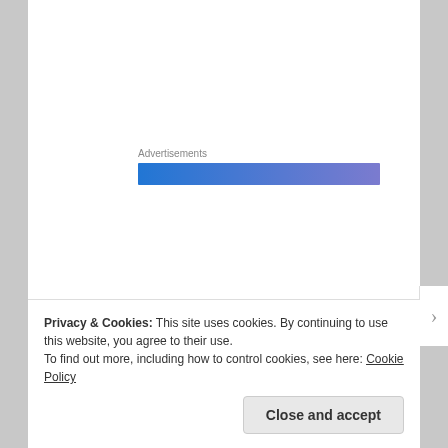[Figure (other): Advertisements banner — a horizontal gradient bar from blue to purple with label 'Advertisements' above it]
While the inevitable clock ticked, he would stay frozen in his thirty two-year-old dimpled smile. She had taken that picture of him when he was walking towards her, forcing her to walk
Privacy & Cookies: This site uses cookies. By continuing to use this website, you agree to their use.
To find out more, including how to control cookies, see here: Cookie Policy
Close and accept